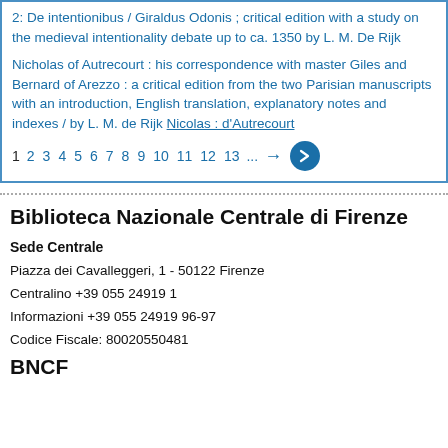2: De intentionibus / Giraldus Odonis ; critical edition with a study on the medieval intentionality debate up to ca. 1350 by L. M. De Rijk
Nicholas of Autrecourt : his correspondence with master Giles and Bernard of Arezzo : a critical edition from the two Parisian manuscripts with an introduction, English translation, explanatory notes and indexes / by L. M. de Rijk Nicolas : d'Autrecourt
1 2 3 4 5 6 7 8 9 10 11 12 13 ... → →
Biblioteca Nazionale Centrale di Firenze
Sede Centrale
Piazza dei Cavalleggeri, 1 - 50122 Firenze
Centralino +39 055 24919 1
Informazioni +39 055 24919 96-97
Codice Fiscale: 80020550481
BNCF